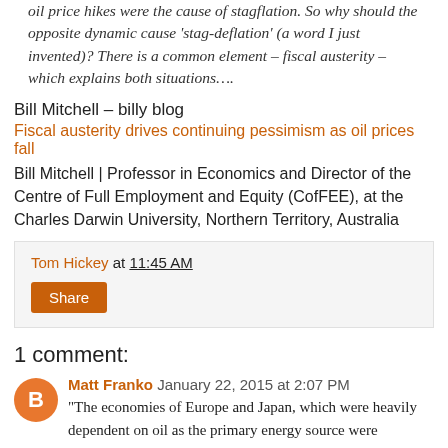oil price hikes were the cause of stagflation. So why should the opposite dynamic cause 'stag-deflation' (a word I just invented)? There is a common element – fiscal austerity – which explains both situations….
Bill Mitchell – billy blog
Fiscal austerity drives continuing pessimism as oil prices fall
Bill Mitchell | Professor in Economics and Director of the Centre of Full Employment and Equity (CofFEE), at the Charles Darwin University, Northern Territory, Australia
Tom Hickey at 11:45 AM
Share
1 comment:
Matt Franko January 22, 2015 at 2:07 PM
"The economies of Europe and Japan, which were heavily dependent on oil as the primary energy source were